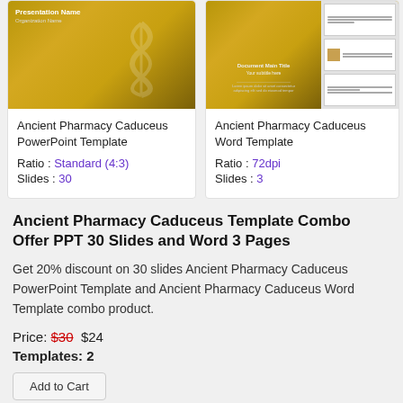[Figure (screenshot): Ancient Pharmacy Caduceus PowerPoint Template product card with golden caduceus image]
Ancient Pharmacy Caduceus PowerPoint Template
Ratio : Standard (4:3)
Slides : 30
[Figure (screenshot): Ancient Pharmacy Caduceus Word Template product card with golden caduceus image and document thumbnails]
Ancient Pharmacy Caduceus Word Template
Ratio : 72dpi
Slides : 3
Ancient Pharmacy Caduceus Template Combo Offer PPT 30 Slides and Word 3 Pages
Get 20% discount on 30 slides Ancient Pharmacy Caduceus PowerPoint Template and Ancient Pharmacy Caduceus Word Template combo product.
Price: $30  $24
Templates: 2